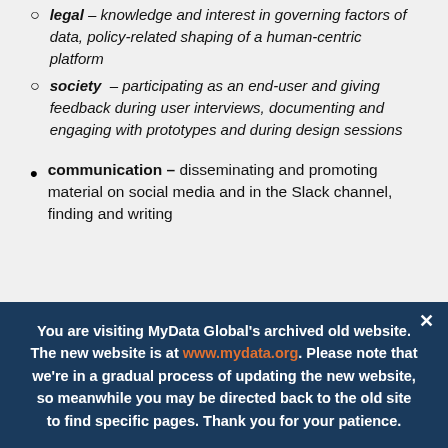legal – knowledge and interest in governing factors of data, policy-related shaping of a human-centric platform
society – participating as an end-user and giving feedback during user interviews, documenting and engaging with prototypes and during design sessions
communication – disseminating and promoting material on social media and in the Slack channel, finding and writing
You are visiting MyData Global's archived old website. The new website is at www.mydata.org. Please note that we're in a gradual process of updating the new website, so meanwhile you may be directed back to the old site to find specific pages. Thank you for your patience.